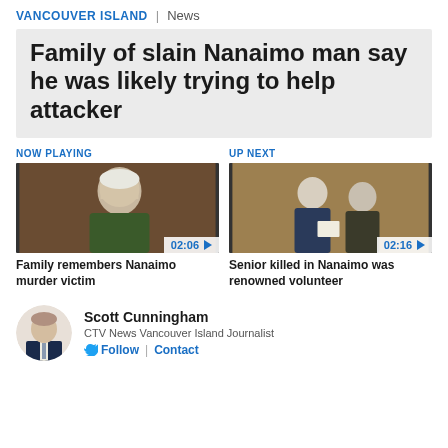VANCOUVER ISLAND | News
Family of slain Nanaimo man say he was likely trying to help attacker
NOW PLAYING
[Figure (photo): Thumbnail of elderly white-haired man, video duration 02:06]
UP NEXT
[Figure (photo): Thumbnail of two men in suits at formal event, video duration 02:16]
Family remembers Nanaimo murder victim
Senior killed in Nanaimo was renowned volunteer
[Figure (photo): Headshot of journalist Scott Cunningham in suit]
Scott Cunningham
CTV News Vancouver Island Journalist
Follow | Contact